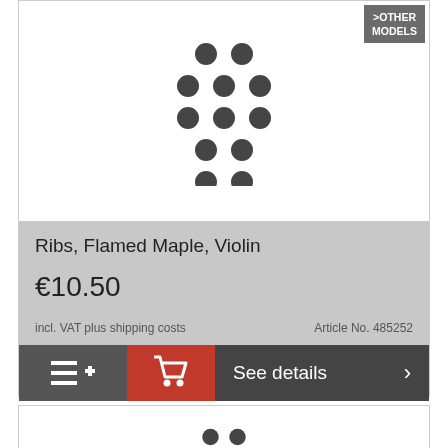[Figure (illustration): Loading spinner dot pattern (grid of dark grey circles) indicating image loading placeholder]
>OTHER MODELS
Ribs, Flamed Maple, Violin
€10.50
incl. VAT plus shipping costs
Article No. 485252
See details
[Figure (illustration): Partial loading spinner dot pattern (partially visible grid of dark grey circles) at bottom of page for second product card]